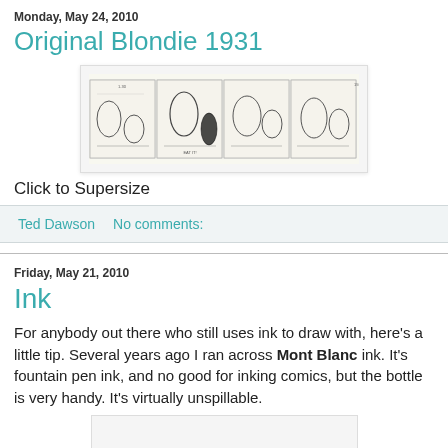Monday, May 24, 2010
Original Blondie 1931
[Figure (illustration): Original Blondie 1931 comic strip — four panels, black and white ink drawing showing comic strip characters]
Click to Supersize
Ted Dawson    No comments:
Friday, May 21, 2010
Ink
For anybody out there who still uses ink to draw with, here's a little tip. Several years ago I ran across Mont Blanc ink. It's fountain pen ink, and no good for inking comics, but the bottle is very handy. It's virtually unspillable.
[Figure (photo): Partial image of a Mont Blanc ink bottle, cut off at bottom of page]